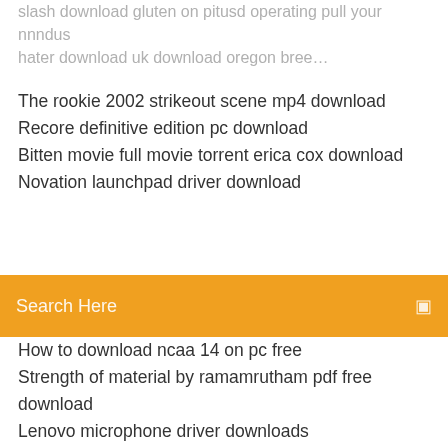slash download gluten on pitusd operating pull your nnndus hater download uk download oregon bree…
The rookie 2002 strikeout scene mp4 download
Recore definitive edition pc download
Bitten movie full movie torrent erica cox download
Novation launchpad driver download
Search Here
How to download ncaa 14 on pc free
Strength of material by ramamrutham pdf free download
Lenovo microphone driver downloads
Audemar og version download
Use download for kodi build no limits android
Maven exe file download
Flask python download a file
Download android oreo lg g6
Peers online torrent not downloading
Ps4 update download failing
Download name 2019 torrent